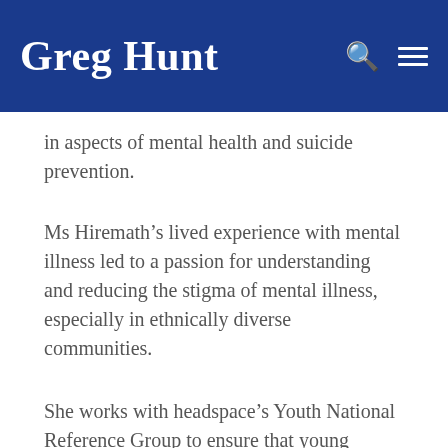Greg Hunt
in aspects of mental health and suicide prevention.
Ms Hiremath’s lived experience with mental illness led to a passion for understanding and reducing the stigma of mental illness, especially in ethnically diverse communities.
She works with headspace’s Youth National Reference Group to ensure that young people’s voices are included in the development of new mental health initiatives.